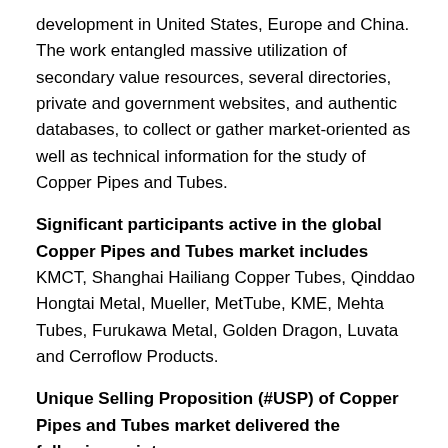development in United States, Europe and China. The work entangled massive utilization of secondary value resources, several directories, private and government websites, and authentic databases, to collect or gather market-oriented as well as technical information for the study of Copper Pipes and Tubes.
Significant participants active in the global Copper Pipes and Tubes market includes  KMCT, Shanghai Hailiang Copper Tubes, Qinddao Hongtai Metal, Mueller, MetTube, KME, Mehta Tubes, Furukawa Metal, Golden Dragon, Luvata and Cerroflow Products.
Unique Selling Proposition (#USP) of Copper Pipes and Tubes market delivered the following points
1. A dedicated constituent focusing on SWOT analysis, Poster's Five Force analysis, PESTEL analysis, value chain analysis and long-term investment feasibility